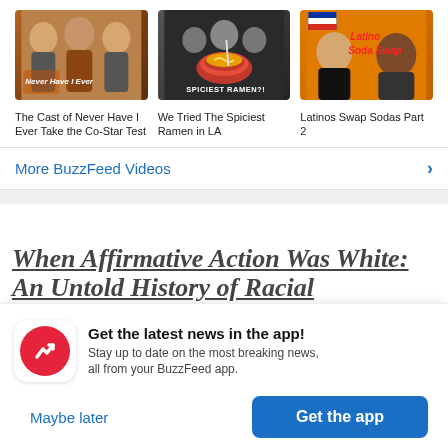[Figure (screenshot): Thumbnail for 'The Cast of Never Have I Ever Take the Co-Star Test' showing group of people with 'Never Have I Ever' text overlay]
[Figure (screenshot): Thumbnail for 'We Tried The Spiciest Ramen in LA' showing bowl of ramen with 'SPICIEST RAMEN?!' text overlay]
[Figure (screenshot): Thumbnail for 'Latinos Swap Sodas Part 2' showing people with 'Latino Soda Swap' text overlay]
The Cast of Never Have I Ever Take the Co-Star Test
We Tried The Spiciest Ramen in LA
Latinos Swap Sodas Part 2
More BuzzFeed Videos
When Affirmative Action Was White: An Untold History of Racial
Get the latest news in the app! Stay up to date on the most breaking news, all from your BuzzFeed app.
Maybe later
Get the app